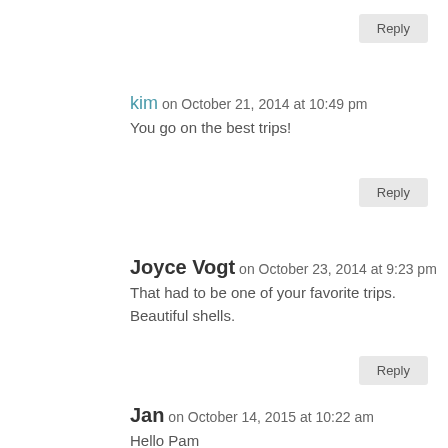Reply (top button)
kim on October 21, 2014 at 10:49 pm
You go on the best trips!
Reply
Joyce Vogt on October 23, 2014 at 9:23 pm
That had to be one of your favorite trips. Beautiful shells.
Reply
Jan on October 14, 2015 at 10:22 am
Hello Pam